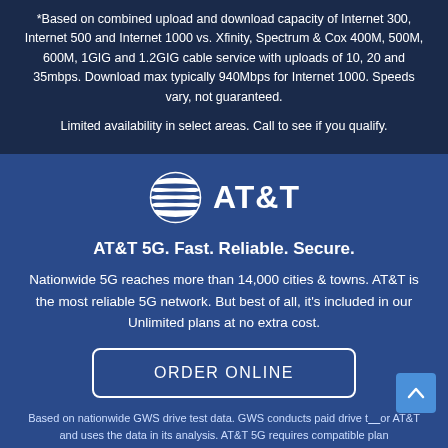*Based on combined upload and download capacity of Internet 300, Internet 500 and Internet 1000 vs. Xfinity, Spectrum & Cox 400M, 500M, 600M, 1GIG and 1.2GIG cable service with uploads of 10, 20 and 35mbps. Download max typically 940Mbps for Internet 1000. Speeds vary, not guaranteed.
Limited availability in select areas. Call to see if you qualify.
[Figure (logo): AT&T globe logo with horizontal white stripes and AT&T text in white on blue background]
AT&T 5G. Fast. Reliable. Secure.
Nationwide 5G reaches more than 14,000 cities & towns. AT&T is the most reliable 5G network. But best of all, it's included in our Unlimited plans at no extra cost.
ORDER ONLINE
Based on nationwide GWS drive test data. GWS conducts paid drive tests for AT&T and uses the data in its analysis. AT&T 5G requires compatible plan